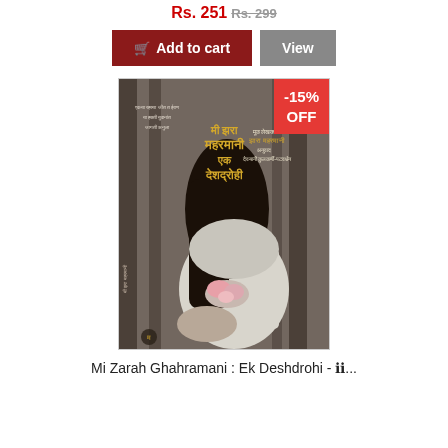Rs. 251 Rs. 299
Add to cart  View
[Figure (photo): Book cover of 'Mi Zarah Ghahramani: Ek Deshdrohi' showing a woman in a white dress with dark hair covering her face, holding flowers, on a dark background with Marathi text.]
Mi Zarah Ghahramani : Ek Deshdrohi - मी...